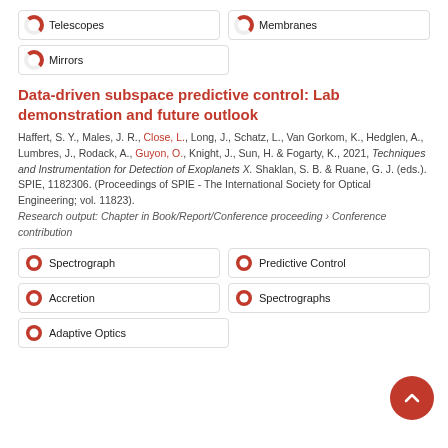Telescopes
Membranes
Mirrors
Data-driven subspace predictive control: Lab demonstration and future outlook
Haffert, S. Y., Males, J. R., Close, L., Long, J., Schatz, L., Van Gorkom, K., Hedglen, A., Lumbres, J., Rodack, A., Guyon, O., Knight, J., Sun, H. & Fogarty, K., 2021, Techniques and Instrumentation for Detection of Exoplanets X. Shaklan, S. B. & Ruane, G. J. (eds.). SPIE, 1182306. (Proceedings of SPIE - The International Society for Optical Engineering; vol. 11823). Research output: Chapter in Book/Report/Conference proceeding › Conference contribution
Spectrograph
Predictive Control
Accretion
Spectrographs
Adaptive Optics